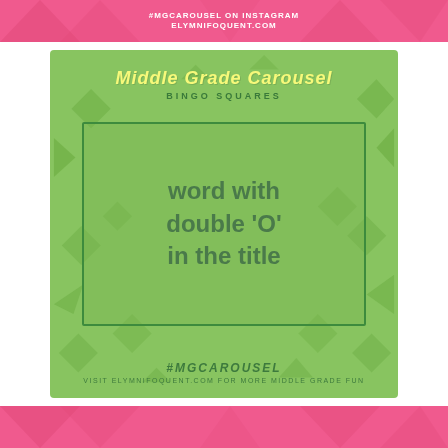#MGCAROUSEL ON INSTAGRAM
ELYMNIFOQUENT.COM
Middle Grade Carousel
BINGO SQUARES
word with double 'O' in the title
#MGCAROUSEL
VISIT ELYMNIFOQUENT.COM FOR MORE MIDDLE GRADE FUN